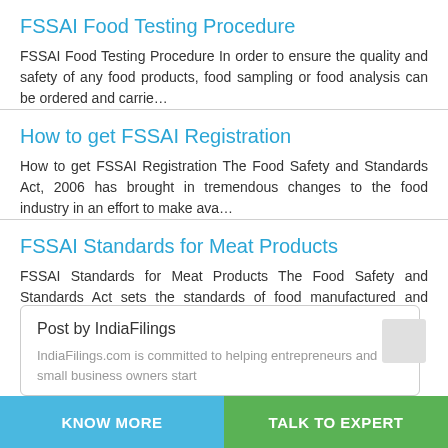FSSAI Food Testing Procedure
FSSAI Food Testing Procedure In order to ensure the quality and safety of any food products, food sampling or food analysis can be ordered and carrie…
How to get FSSAI Registration
How to get FSSAI Registration The Food Safety and Standards Act, 2006 has brought in tremendous changes to the food industry in an effort to make ava…
FSSAI Standards for Meat Products
FSSAI Standards for Meat Products The Food Safety and Standards Act sets the standards of food manufactured and consumed in India. The FSSAI Act also…
Post by IndiaFilings
IndiaFilings.com is committed to helping entrepreneurs and small business owners start
KNOW MORE   TALK TO EXPERT